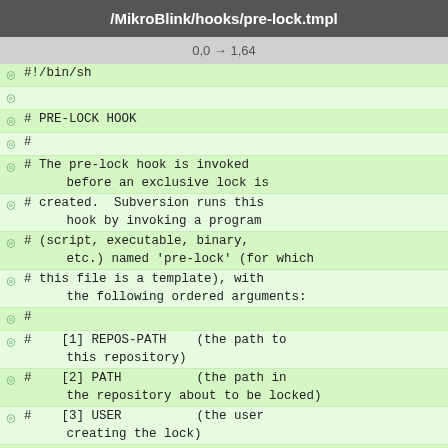/MikroBlink/hooks/pre-lock.tmpl
0,0 → 1,64
#!/bin/sh
# PRE-LOCK HOOK
#
# The pre-lock hook is invoked before an exclusive lock is
# created.  Subversion runs this hook by invoking a program
# (script, executable, binary, etc.) named 'pre-lock' (for which
# this file is a template), with the following ordered arguments:
#
#    [1] REPOS-PATH    (the path to this repository)
#    [2] PATH          (the path in the repository about to be locked)
#    [3] USER          (the user creating the lock)
#
# The default working directory for